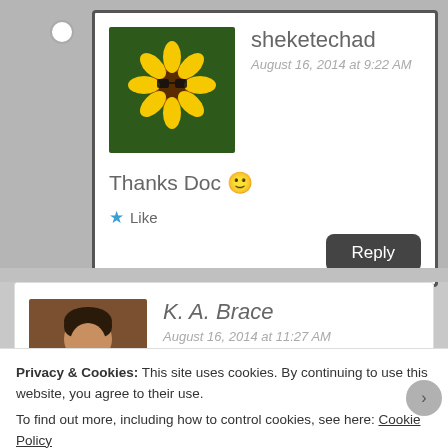sheketechad
August 16, 2014 at 9:22 AM
Thanks Doc 🙂
★ Like
Reply
K. A. Brace
August 16, 2014 at 11:27 AM
Privacy & Cookies: This site uses cookies. By continuing to use this website, you agree to their use.
To find out more, including how to control cookies, see here: Cookie Policy
Close and accept